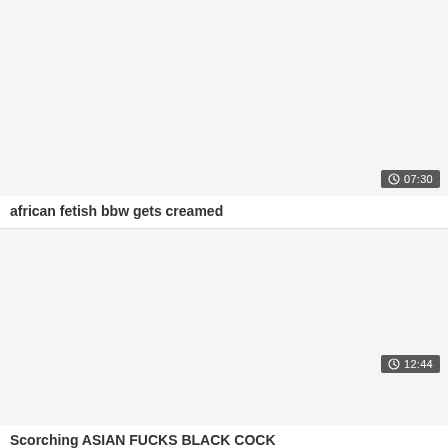[Figure (screenshot): Video thumbnail placeholder (light gray background) for first video]
07:30
african fetish bbw gets creamed
[Figure (screenshot): Video thumbnail placeholder (light gray background) for second video]
12:44
Scorching ASIAN FUCKS BLACK COCK